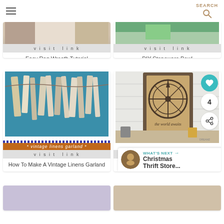SEARCH
[Figure (photo): Partial photo of Easy Rag Wreath Tutorial with visit link bar]
Easy Rag Wreath Tutorial
[Figure (photo): Partial photo of DIY Stoneware Bowl with visit link bar]
DIY Stoneware Bowl
[Figure (photo): Photo of vintage linens garland hanging on teal door with visit link bar]
How To Make A Vintage Linens Garland
[Figure (photo): Photo of thrifted child's wall easel converted to wall decor with compass rose artwork, visit link bar]
Thrifted Child's Wall Easel To Wall D...
[Figure (photo): Partial bottom photo left]
[Figure (photo): Partial bottom photo right]
WHAT'S NEXT → Christmas Thrift Store...